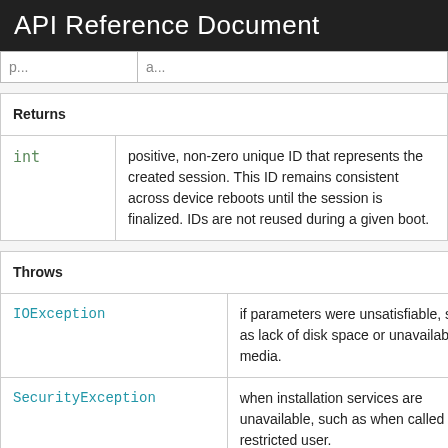API Reference Document
| Returns |
| --- |
| int | positive, non-zero unique ID that represents the created session. This ID remains consistent across device reboots until the session is finalized. IDs are not reused during a given boot. |
| Throws |
| --- |
| IOException | if parameters were unsatisfiable, such as lack of disk space or unavailable media. |
| SecurityException | when installation services are unavailable, such as when called from a restricted user. |
| IllegalArgumentException | when PackageInstaller.SessionParams is |